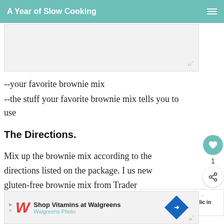A Year of Slow Cooking
[Figure (other): Advertisement banner placeholder with Mediavine logo]
--your favorite brownie mix
--the stuff your favorite brownie mix tells you to use
The Directions.
Mix up the brownie mix according to the directions listed on the package. I us new gluten-free brownie mix from Trader
[Figure (other): What's Next widget showing Roasted Garlic in the... with a food photo thumbnail]
[Figure (other): Walgreens advertisement: Shop Vitamins at Walgreens, Walgreens Photo]